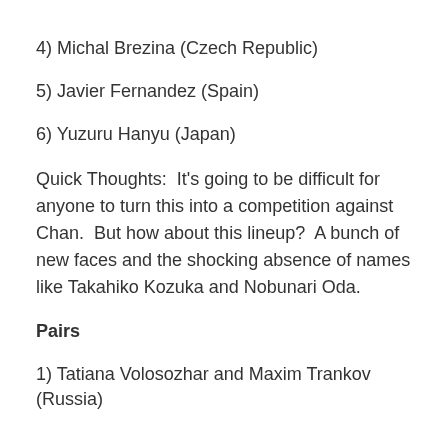4) Michal Brezina (Czech Republic)
5) Javier Fernandez (Spain)
6) Yuzuru Hanyu (Japan)
Quick Thoughts:  It's going to be difficult for anyone to turn this into a competition against Chan.  But how about this lineup?  A bunch of new faces and the shocking absence of names like Takahiko Kozuka and Nobunari Oda.
Pairs
1) Tatiana Volosozhar and Maxim Trankov (Russia)